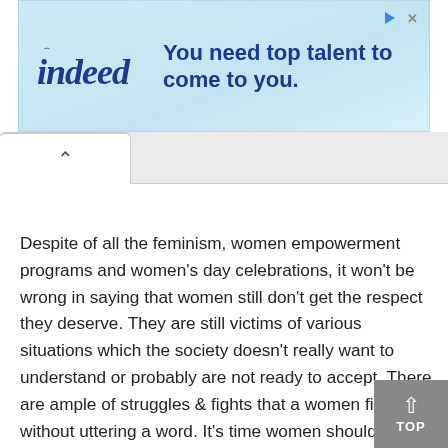[Figure (screenshot): Indeed advertisement banner with logo and tagline 'You need top talent to come to you.' on a light blue background]
[Figure (screenshot): Browser tab bar with a back/up chevron tab on the left]
Despite of all the feminism, women empowerment programs and women's day celebrations, it won't be wrong in saying that women still don't get the respect they deserve. They are still victims of various situations which the society doesn't really want to understand or probably are not ready to accept. There are ample of struggles & fights that a women fights without uttering a word. It's time women should take their respect in their own hands and start appreciating each other, may be, then the world would realise their worth.Here are few norm breaking statements every woman should read and celebrate the feeling of womanhood: After exhausting yourself in office the day, don't feel guilty if you don't feel like cooking.
[Figure (screenshot): Grey 'TOP' button with upward arrow in the bottom right corner]